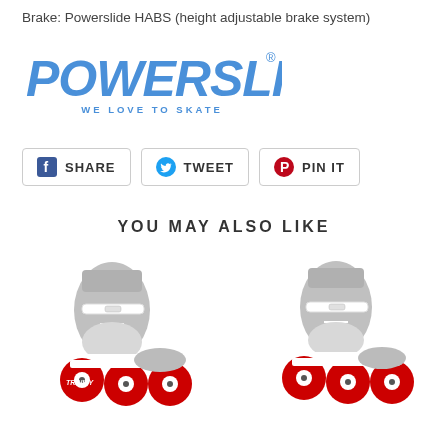Brake: Powerslide HABS (height adjustable brake system)
[Figure (logo): Powerslide logo — bold italic blue text reading POWERSLIDE with registered trademark symbol, tagline WE LOVE TO SKATE in smaller blue spaced letters below]
[Figure (other): Three social sharing buttons: Facebook SHARE, Twitter TWEET, Pinterest PIN IT — each with rounded border and respective icon]
YOU MAY ALSO LIKE
[Figure (photo): Gray and white inline skate with red wheels (3-wheel setup), Powerslide brand, viewed from the side]
[Figure (photo): Gray and white inline skate with red wheels (3-wheel setup), Powerslide brand, viewed from the side at a slightly different angle]